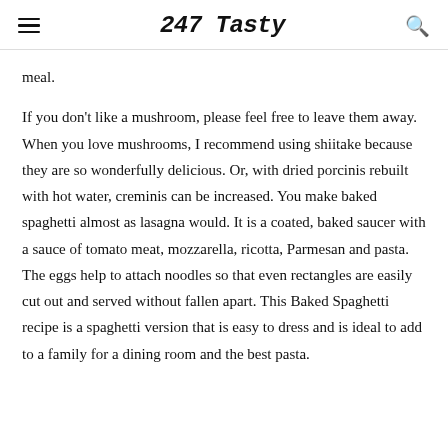247 Tasty
meal.
If you don't like a mushroom, please feel free to leave them away. When you love mushrooms, I recommend using shiitake because they are so wonderfully delicious. Or, with dried porcinis rebuilt with hot water, creminis can be increased. You make baked spaghetti almost as lasagna would. It is a coated, baked saucer with a sauce of tomato meat, mozzarella, ricotta, Parmesan and pasta. The eggs help to attach noodles so that even rectangles are easily cut out and served without fallen apart. This Baked Spaghetti recipe is a spaghetti version that is easy to dress and is ideal to add to a family for a dining room and the best pasta.